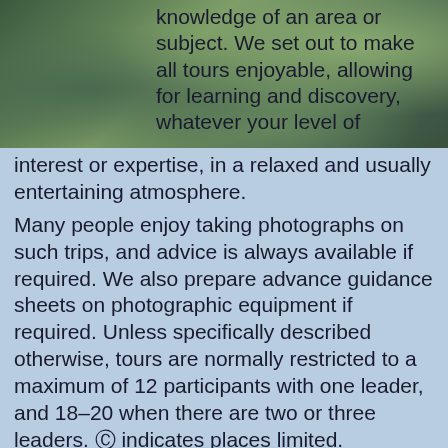[Figure (photo): Nature/outdoor background photograph with green foliage, serving as backdrop to overlaid text]
knowledge of an area or subject. We set out to make all tours enjoyable, allowing for learning and discovery, whatever your level of interest or expertise, in a relaxed and usually entertaining atmosphere.
Many people enjoy taking photographs on such trips, and advice is always available if required. We also prepare advance guidance sheets on photographic equipment if required. Unless specifically described otherwise, tours are normally restricted to a maximum of 12 participants with one leader, and 18–20 when there are two or three leaders. © indicates places limited.
HOW DIFFICULT? We are often asked whether the tours are suitable for people who cannot walk